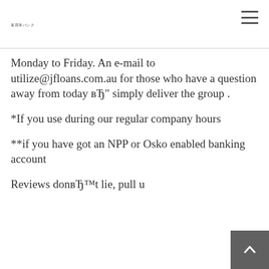東容率バンク
Monday to Friday. An e-mail to utilize@jfloans.com.au for those who have a question away from today вЂ" simply deliver the group .
*If you use during our regular company hours
**if you have got an NPP or Osko enabled banking account
Reviews donвЂ™t lie, pull u